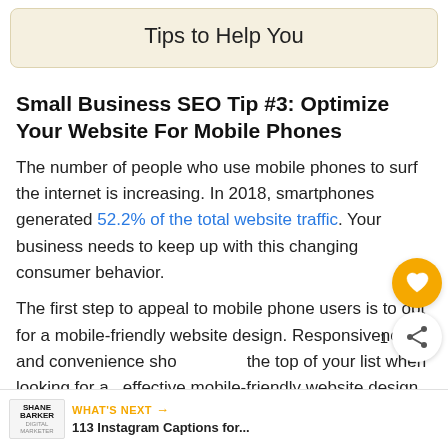Tips to Help You
Small Business SEO Tip #3: Optimize Your Website For Mobile Phones
The number of people who use mobile phones to surf the internet is increasing. In 2018, smartphones generated 52.2% of the total website traffic. Your business needs to keep up with this changing consumer behavior.
The first step to appeal to mobile phone users is to opt for a mobile-friendly website design. Responsiveness and convenience should be at the top of your list when looking for an effective mobile-friendly website design.
[Figure (other): UI overlay with heart/like button (gold circle with heart icon), share button, and 'WHAT'S NEXT' bar at the bottom showing Shane Barker logo and '113 Instagram Captions for...' text]